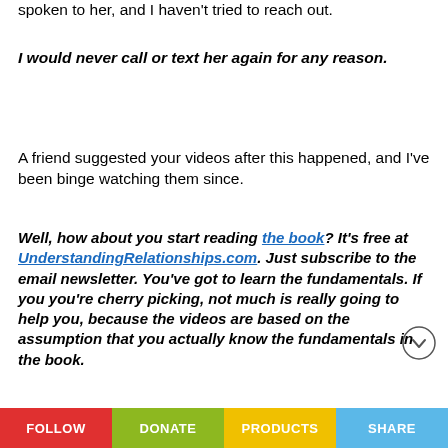spoken to her, and I haven't tried to reach out.
I would never call or text her again for any reason.
A friend suggested your videos after this happened, and I've been binge watching them since.
Well, how about you start reading the book? It's free at UnderstandingRelationships.com. Just subscribe to the email newsletter. You've got to learn the fundamentals. If you you're cherry picking, not much is really going to help you, because the videos are based on the assumption that you actually know the fundamentals in the book.
FOLLOW   DONATE   PRODUCTS   SHARE